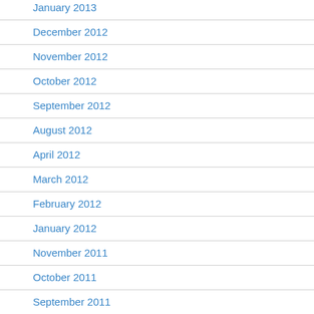January 2013
December 2012
November 2012
October 2012
September 2012
August 2012
April 2012
March 2012
February 2012
January 2012
November 2011
October 2011
September 2011